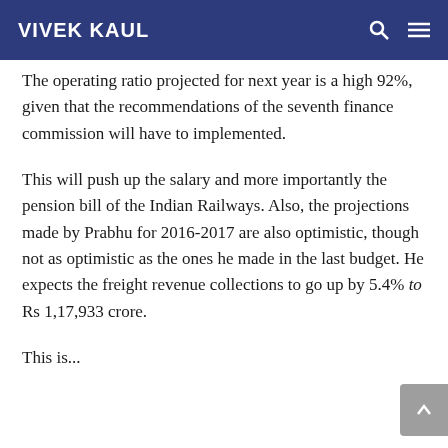VIVEK KAUL
The operating ratio projected for next year is a high 92%, given that the recommendations of the seventh finance commission will have to implemented.
This will push up the salary and more importantly the pension bill of the Indian Railways. Also, the projections made by Prabhu for 2016-2017 are also optimistic, though not as optimistic as the ones he made in the last budget. He expects the freight revenue collections to go up by 5.4% to Rs 1,17,933 crore.
This is...